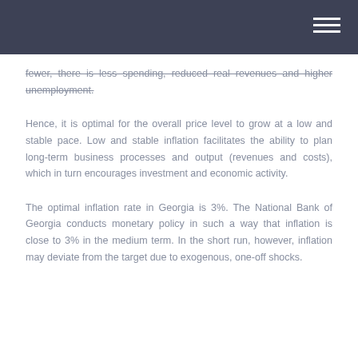fewer, there is less spending, reduced real revenues and higher unemployment.
Hence, it is optimal for the overall price level to grow at a low and stable pace. Low and stable inflation facilitates the ability to plan long-term business processes and output (revenues and costs), which in turn encourages investment and economic activity.
The optimal inflation rate in Georgia is 3%. The National Bank of Georgia conducts monetary policy in such a way that inflation is close to 3% in the medium term. In the short run, however, inflation may deviate from the target due to exogenous, one-off shocks.